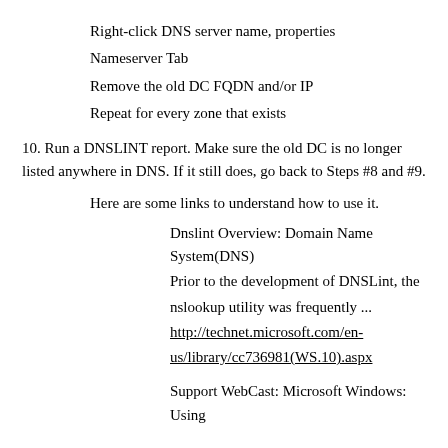Right-click DNS server name, properties
Nameserver Tab
Remove the old DC FQDN and/or IP
Repeat for every zone that exists
10. Run a DNSLINT report. Make sure the old DC is no longer listed anywhere in DNS. If it still does, go back to Steps #8 and #9.
Here are some links to understand how to use it.
Dnslint Overview: Domain Name System(DNS) Prior to the development of DNSLint, the nslookup utility was frequently ... http://technet.microsoft.com/en-us/library/cc736981(WS.10).aspx
Support WebCast: Microsoft Windows: Using